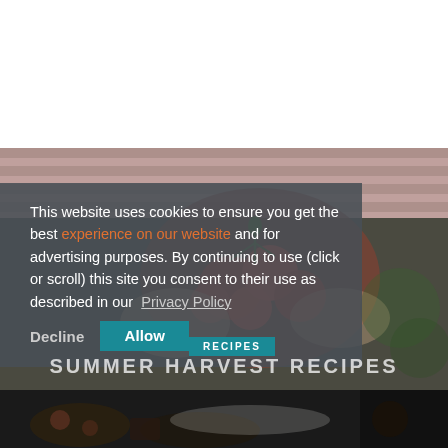[Figure (photo): Hands holding a bunch of fresh cherry tomatoes on the vine, blurred background with pink striped fabric]
This website uses cookies to ensure you get the best experience on our website and for advertising purposes. By continuing to use (click or scroll) this site you consent to their use as described in our  Privacy Policy
Decline
Allow
RECIPES
SUMMER HARVEST RECIPES
[Figure (photo): Bottom strip showing a dark food scene with spices and baked goods]